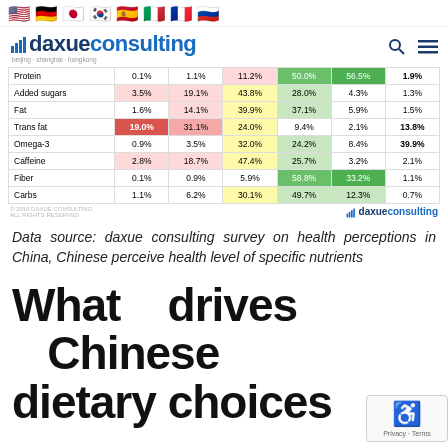Flags: US, Germany, Japan, South Korea, Spain, Italy, France, Russia
[Figure (logo): Daxue Consulting logo with bar chart icon, search and menu icons]
|  | col1 | col2 | col3 | col4 | col5 | col6 |
| --- | --- | --- | --- | --- | --- | --- |
| Protein | 0.1% | 1.1% | 11.2% | 50.0% | 56.5% | 1.9% |
| Added sugars | 3.5% | 19.1% | 43.8% | 28.0% | 4.3% | 1.3% |
| Fat | 1.6% | 14.1% | 39.9% | 37.1% | 5.9% | 1.5% |
| Trans fat | 19.0% | 31.1% | 24.0% | 9.4% | 2.1% | 13.8% |
| Omega-3 | 0.9% | 3.5% | 32.0% | 24.2% | 8.4% | 39.9% |
| Caffeine | 2.8% | 18.7% | 47.4% | 25.7% | 3.2% | 2.1% |
| Fiber | 0.1% | 0.9% | 5.9% | 58.8% | 33.2% | 1.1% |
| Carbs | 1.1% | 6.2% | 30.1% | 49.7% | 12.3% | 0.7% |
Data source: daxue consulting survey on health perceptions in China, Chinese perceive health level of specific nutrients
What drives Chinese dietary choices